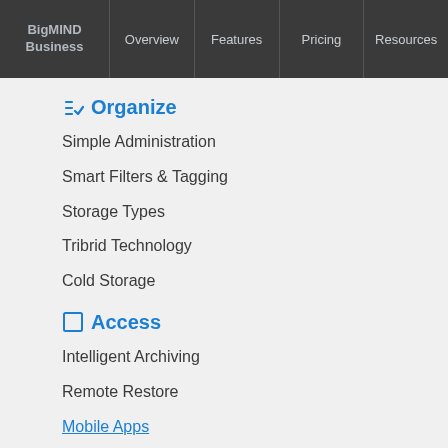BigMIND Business | Overview | Features | Pricing | Resources
Organize
Simple Administration
Smart Filters & Tagging
Storage Types
Tribrid Technology
Cold Storage
Access
Intelligent Archiving
Remote Restore
Mobile Apps
Sharing
Protect